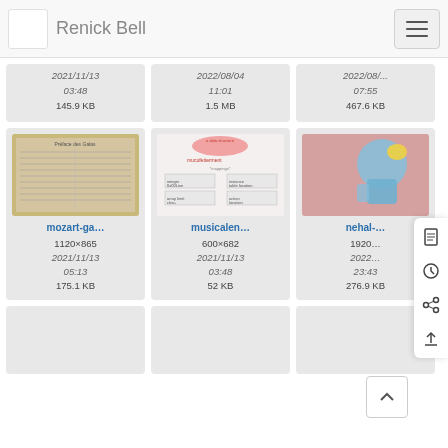Renick Bell
2021/11/13 03:48
145.9 KB
2022/08/04 11:01
1.5 MB
2022/08/... 07:55
467.6 KB
[Figure (photo): Mozart gallery thumbnail - old document/sheet]
1120×865
2021/11/13 05:13
175.1 KB
[Figure (infographic): Musical environment - data structure diagram]
600×682
2021/11/13 03:48
52 KB
[Figure (photo): Nehal - 3D robot character]
1920...
2022... 23:43
276.9 KB